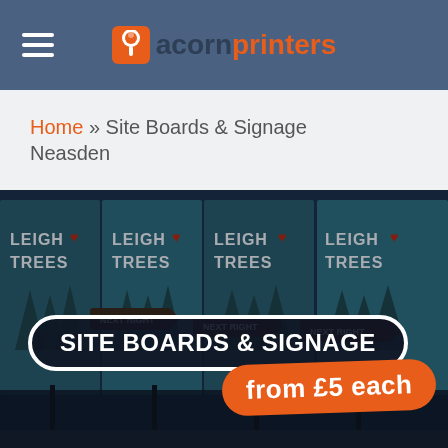acornprinters
Home » Site Boards & Signage Neasden
[Figure (photo): Multiple large site boards/banners displaying 'LEIGH TREES' with 'NEXT RIGHT' signs, shown outdoors in low-light conditions. Site signage product showcase image.]
SITE BOARDS & SIGNAGE
from £5 each